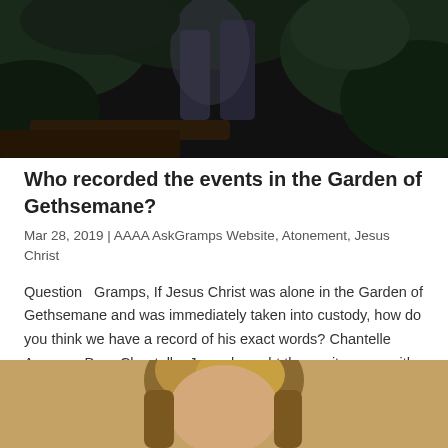[Figure (photo): Dark garden scene with figures, appearing to depict the Garden of Gethsemane at night]
Who recorded the events in the Garden of Gethsemane?
Mar 28, 2019 | AAAA AskGramps Website, Atonement, Jesus Christ
Question   Gramps, If Jesus Christ was alone in the Garden of Gethsemane and was immediately taken into custody, how do you think we have a record of his exact words? Chantelle   Answer   Dear Chantelle, Jesus brought three witnesses with him to the…
[Figure (photo): Portrait photo of a person with blonde hair against a tan/beige background]